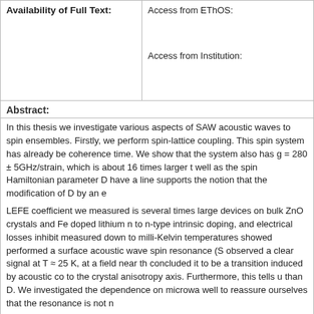| Availability of Full Text: |  |
| --- | --- |
|  | Access from EThOS:

Access from Institution: |
Abstract:
In this thesis we investigate various aspects of SAW acoustic waves to spin ensembles. Firstly, we perform spin-lattice coupling. This spin system has already be coherence time. We show that the system also has g = 280 ± 5GHz/strain, which is about 16 times larger t well as the spin Hamiltonian parameter D have a line supports the notion that the modification of D by an e LEFE coefficient we measured is several times large devices on bulk ZnO crystals and Fe doped lithium n to n-type intrinsic doping, and electrical losses inhibit measured down to milli-Kelvin temperatures showed performed a surface acoustic wave spin resonance (S observed a clear signal at T ≈ 25 K, at a field near th concluded it to be a transition induced by acoustic co to the crystal anisotropy axis. Furthermore, this tells u than D. We investigated the dependence on microwa well to reassure ourselves that the resonance is not n
| Supervisor: |  |
| --- | --- |
|  | Ardavan, Arzhang ; Leek |